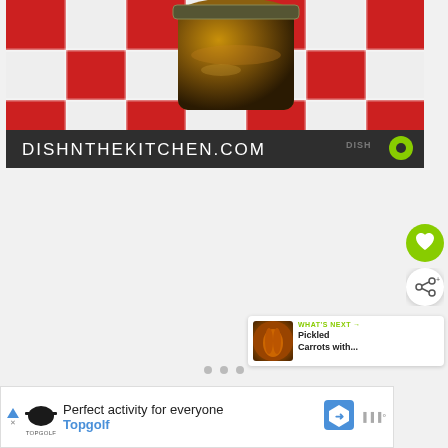[Figure (photo): Photo of a glass jar filled with food (relish or chutney) sitting on a red and white checkered tablecloth, with website banner overlay reading DISHNTHEKITCHEN.COM and a dish logo]
DISHNTHEKITCHEN.COM
[Figure (infographic): Green circular like/favorite button icon and white share button icon on the right side of the page]
[Figure (photo): WHAT'S NEXT panel showing Pickled Carrots with... thumbnail and text]
WHAT'S NEXT → Pickled Carrots with...
[Figure (infographic): Advertisement banner for Topgolf: Perfect activity for everyone]
Perfect activity for everyone Topgolf